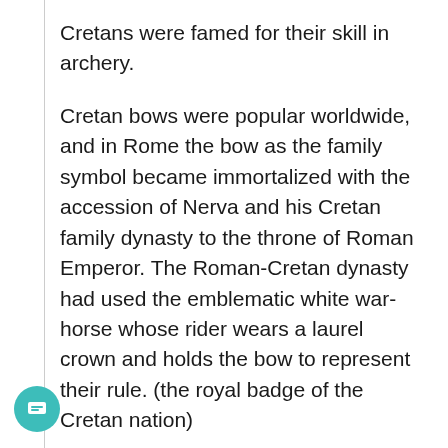Cretans were famed for their skill in archery.
Cretan bows were popular worldwide, and in Rome the bow as the family symbol became immortalized with the accession of Nerva and his Cretan family dynasty to the throne of Roman Emperor. The Roman-Cretan dynasty had used the emblematic white war-horse whose rider wears a laurel crown and holds the bow to represent their rule. (the royal badge of the Cretan nation)
Revelation 6:2; “I looked, and there before me was a white horse! Its rider held a bow, and he was given a crown, and he rode out as